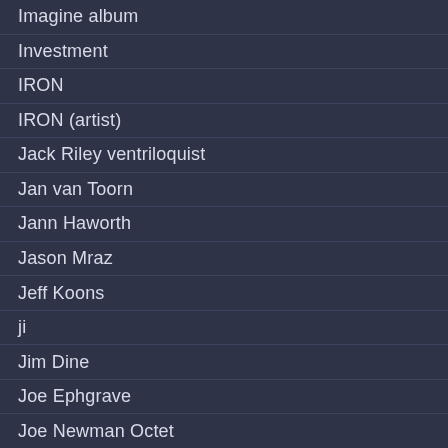Imagine album
Investment
IRON
IRON (artist)
Jack Riley ventriloquist
Jan van Toorn
Jann Haworth
Jason Mraz
Jeff Koons
ji
Jim Dine
Joe Ephgrave
Joe Newman Octet